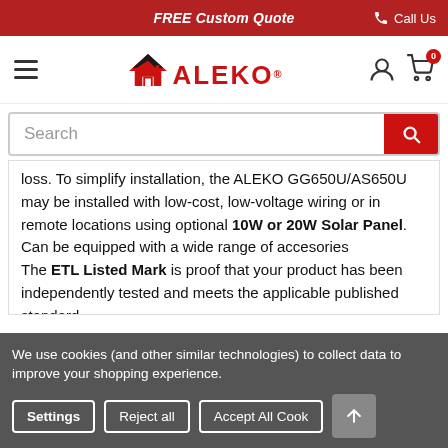FREE Custom Quote  Call Us
[Figure (logo): ALEKO brand logo with house icon]
Search
loss. To simplify installation, the ALEKO GG650U/AS650U may be installed with low-cost, low-voltage wiring or in remote locations using optional 10W or 20W Solar Panel. Can be equipped with a wide range of accesories The ETL Listed Mark is proof that your product has been independently tested and meets the applicable published standard.
We use cookies (and other similar technologies) to collect data to improve your shopping experience.